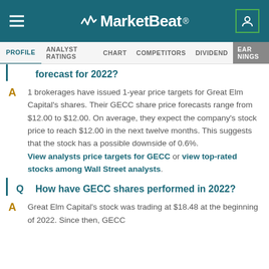MarketBeat
PROFILE  ANALYST RATINGS  CHART  COMPETITORS  DIVIDEND  EARNINGS
forecast for 2022?
1 brokerages have issued 1-year price targets for Great Elm Capital's shares. Their GECC share price forecasts range from $12.00 to $12.00. On average, they expect the company's stock price to reach $12.00 in the next twelve months. This suggests that the stock has a possible downside of 0.6%. View analysts price targets for GECC or view top-rated stocks among Wall Street analysts.
How have GECC shares performed in 2022?
Great Elm Capital's stock was trading at $18.48 at the beginning of 2022. Since then, GECC